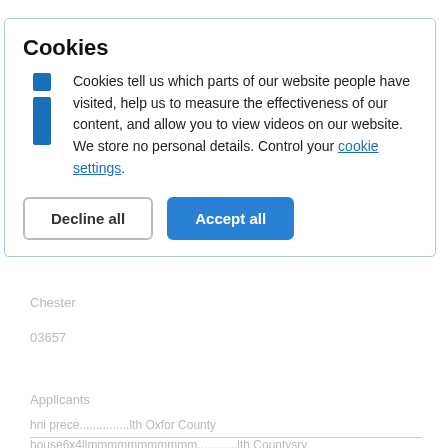OX25 4TE
Parish:
Middleton Stoney
South Newington: Add FP: River Swere
Our reference:
[Figure (screenshot): Cookie consent modal dialog with title 'Cookies', informational text about cookies, an info icon, a 'Decline all' button, and an 'Accept all' button in blue.]